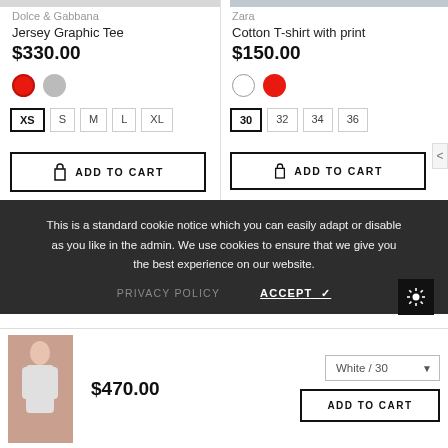Dolce & Gabbana
Jersey Graphic Tee
$330.00
Zara
Cotton T-shirt with print
$150.00
ADD TO CART
ADD TO CART
This is a standard cookie notice which you can easily adapt or disable as you like in the admin. We use cookies to ensure that we give you the best experience on our website.
PRIVACY POLICY
ACCEPT ✓
$470.00
White / 30
ADD TO CART